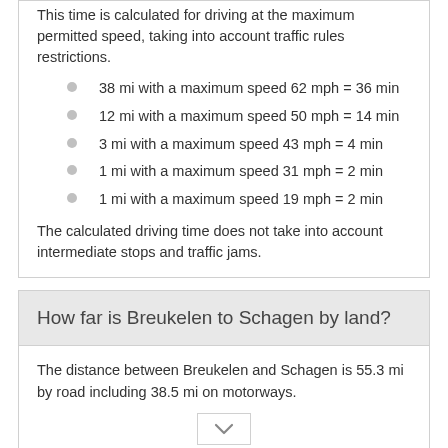This time is calculated for driving at the maximum permitted speed, taking into account traffic rules restrictions.
38 mi with a maximum speed 62 mph = 36 min
12 mi with a maximum speed 50 mph = 14 min
3 mi with a maximum speed 43 mph = 4 min
1 mi with a maximum speed 31 mph = 2 min
1 mi with a maximum speed 19 mph = 2 min
The calculated driving time does not take into account intermediate stops and traffic jams.
How far is Breukelen to Schagen by land?
The distance between Breukelen and Schagen is 55.3 mi by road including 38.5 mi on motorways.